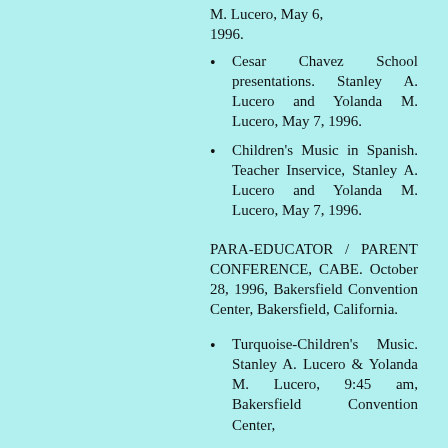Cesar Chavez School presentations. Stanley A. Lucero and Yolanda M. Lucero, May 7, 1996.
Children's Music in Spanish. Teacher Inservice, Stanley A. Lucero and Yolanda M. Lucero, May 7, 1996.
PARA-EDUCATOR / PARENT CONFERENCE, CABE. October 28, 1996, Bakersfield Convention Center, Bakersfield, California.
Turquoise-Children's Music. Stanley A. Lucero & Yolanda M. Lucero, 9:45 am, Bakersfield Convention Center,